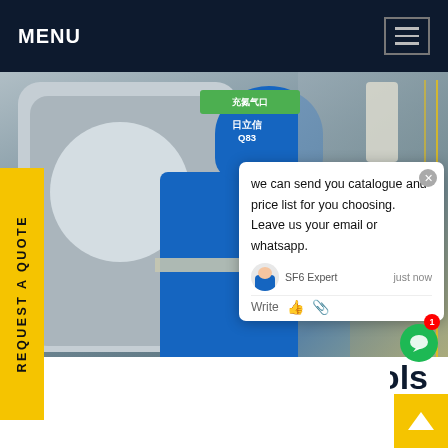MENU
[Figure (photo): A technician in a blue hard hat and blue uniform working on large industrial SF6 equipment/piping outdoors. A chat popup overlay is visible on the right side of the image.]
REQUEST A QUOTE
ood SF6 breakers tools r sale
No SF6 High Voltage Circuit Breaker Permanent Magnet High Voltage Vacuum Auto Control Circ Breaker 3S-12 series of permanent magnet outo vauum circuit breaker is the Company's